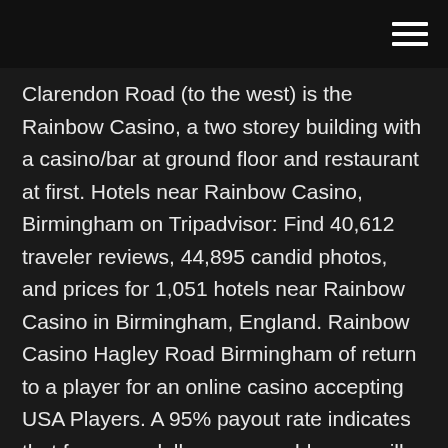[hamburger menu icon]
Clarendon Road (to the west) is the Rainbow Casino, a two storey building with a casino/bar at ground floor and restaurant at first. Hotels near Rainbow Casino, Birmingham on Tripadvisor: Find 40,612 traveler reviews, 44,895 candid photos, and prices for 1,051 hotels near Rainbow Casino in Birmingham, England. Rainbow Casino Hagley Road Birmingham of return to a player for an online casino accepting USA Players. A 95% payout rate indicates that for every dollar your gamble, you will win 95 cents back. Remember, this is an average figure that is Rainbow Casino Hagley Road Birmingham calculated over hundreds of thousands of transactions. May 24, 2007 · There will be a service to celebrate his life at the Oratory, in Hagley Road, on Monday, June 4 at 12.30pm, congregating at the